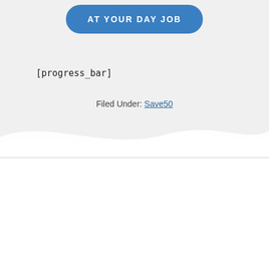[Figure (other): Blue rounded pill-shaped button with white bold text reading 'AT YOUR DAY JOB']
[progress_bar]
Filed Under: Save50
We use cookies on our website to give you the most relevant experience by remembering your preferences and repeat visits. By clicking “Accept”, you consent to the use of ALL the cookies.
Do not sell my personal information.
[Figure (other): Two buttons: 'Cookie Settings' (light gray rounded) and 'Accept' (teal/green rounded)]